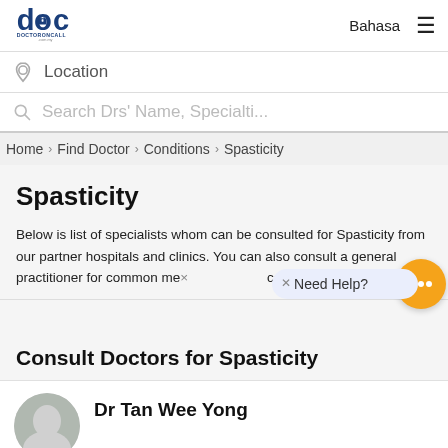[Figure (logo): DoctorOnCall logo with stylized 'doc' text and padlock icon]
Bahasa ≡
Location
Search Drs' Name, Specialti...
Home › Find Doctor › Conditions › Spasticity
Spasticity
Below is list of specialists whom can be consulted for Spasticity from our partner hospitals and clinics. You can also consult a general practitioner for common me... consult doctor online now.
Need Help?
Consult Doctors for Spasticity
Dr Tan Wee Yong